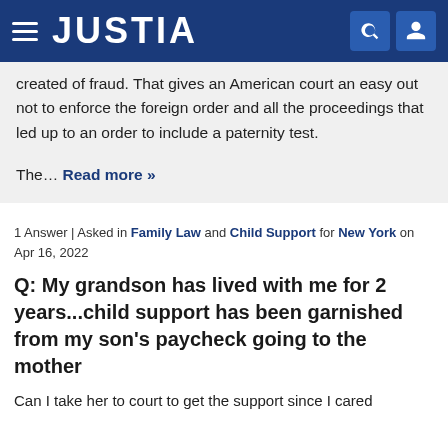JUSTIA
created of fraud. That gives an American court an easy out not to enforce the foreign order and all the proceedings that led up to an order to include a paternity test.
The... Read more »
1 Answer | Asked in Family Law and Child Support for New York on Apr 16, 2022
Q: My grandson has lived with me for 2 years...child support has been garnished from my son's paycheck going to the mother
Can I take her to court to get the support since I cared